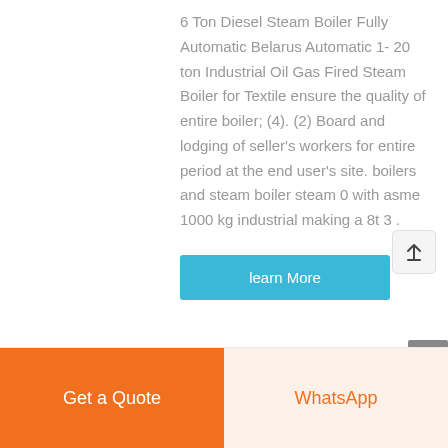6 Ton Diesel Steam Boiler Fully Automatic Belarus Automatic 1- 20 ton Industrial Oil Gas Fired Steam Boiler for Textile ensure the quality of entire boiler; (4). (2) Board and lodging of seller's workers for entire period at the end user's site. boilers and steam boiler steam 0 with asme 1000 kg industrial making a 8t 3 .
learn More
Get a Quote
WhatsApp